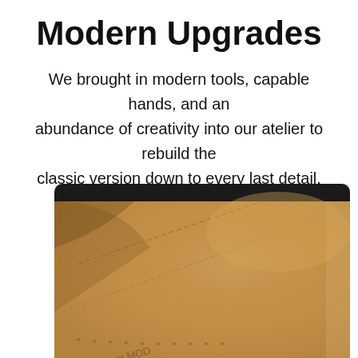Modern Upgrades
We brought in modern tools, capable hands, and an abundance of creativity into our atelier to rebuild the classic version down to every last detail, including:
[Figure (photo): Close-up photo of the interior of a shoe, showing a tan/brown suede insole with stitching details and a black rubber outsole edge. A partial brand logo is visible at the bottom of the image.]